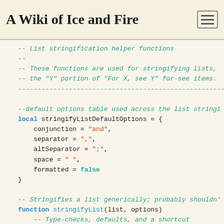A Wiki of Ice and Fire
local p = {}
-- List stringification helper functions
--
-- These functions are used for stringifying lists,
-- the "Y" portion of "For X, see Y" for-see items.
--------------------------------------------------------------

--default options table used across the list stringi
local stringifyListDefaultOptions = {
    conjunction = "and",
    separator = ",",
    altSeparator = ";",
    space = " ",
    formatted = false
}

-- Stringifies a list generically; probably shouldn'
function stringifyList(list, options)
    -- Type-checks, defaults, and a shortcut
    checkType("stringifyList", 1, list, "table")
    if #list == 0 then return nil end
    checkType("stringifyList", 2, options, "table",
    options = options or {}